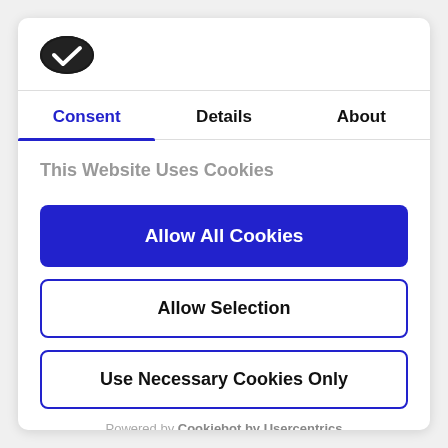[Figure (logo): Cookiebot logo — dark oval badge with a white checkmark]
Consent | Details | About
This Website Uses Cookies
We use cookies to personalize content and ads, to
Allow All Cookies
Allow Selection
Use Necessary Cookies Only
Powered by Cookiebot by Usercentrics